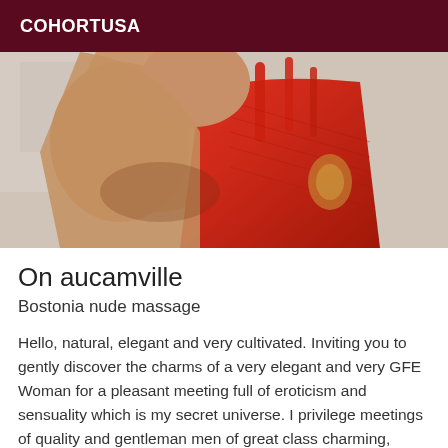COHORTUSA
[Figure (photo): Close-up photo of a person wearing a red strappy dress, showing torso and arm with a blurred indoor background]
On aucamville
Bostonia nude massage
Hello, natural, elegant and very cultivated. Inviting you to gently discover the charms of a very elegant and very GFE Woman for a pleasant meeting full of eroticism and sensuality which is my secret universe. I privilege meetings of quality and gentleman men of great class charming, relaxed, pleasant and courteous, eager to spend moments in my company and who know how to